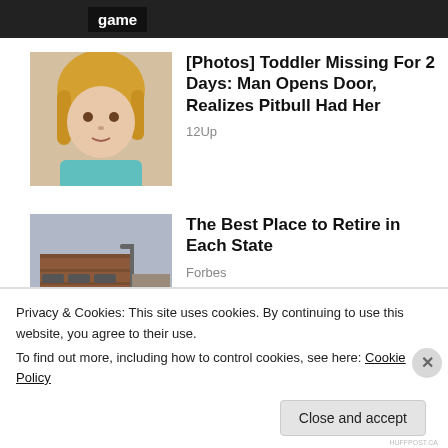game
[Figure (photo): Thumbnail photo of a young toddler girl with blonde hair wearing a teal shirt]
[Photos] Toddler Missing For 2 Days: Man Opens Door, Realizes Pitbull Had Her
12Up
[Figure (photo): Thumbnail photo of a brick building with awnings on a street]
The Best Place to Retire in Each State
Forbes
Privacy & Cookies: This site uses cookies. By continuing to use this website, you agree to their use.
To find out more, including how to control cookies, see here: Cookie Policy
Close and accept